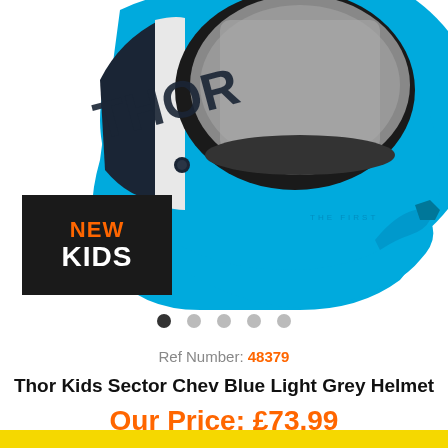[Figure (photo): Thor motocross helmet in cyan/blue color with dark navy and white THOR branding on the side, shown at an angle revealing the interior padding. A black 'NEW KIDS' badge is overlaid in the bottom-left of the image.]
Ref Number: 48379
Thor Kids Sector Chev Blue Light Grey Helmet
Our Price: £73.99